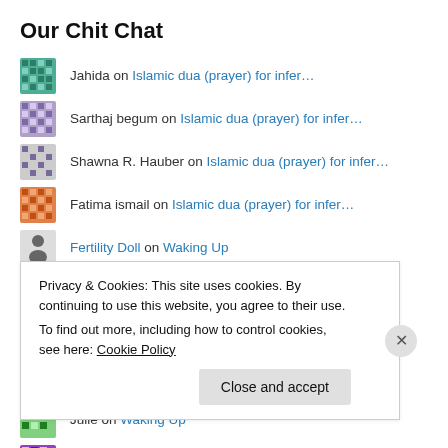Our Chit Chat
Jahida on Islamic dua (prayer) for infer…
Sarthaj begum on Islamic dua (prayer) for infer…
Shawna R. Hauber on Islamic dua (prayer) for infer…
Fatima ismail on Islamic dua (prayer) for infer…
Fertility Doll on Waking Up
Fertility Doll on Waking Up
Fertility Doll on Waking Up
superfoodanita on Waking Up
Julie on Waking Up
shellsta on Waking Up
Privacy & Cookies: This site uses cookies. By continuing to use this website, you agree to their use. To find out more, including how to control cookies, see here: Cookie Policy
Close and accept